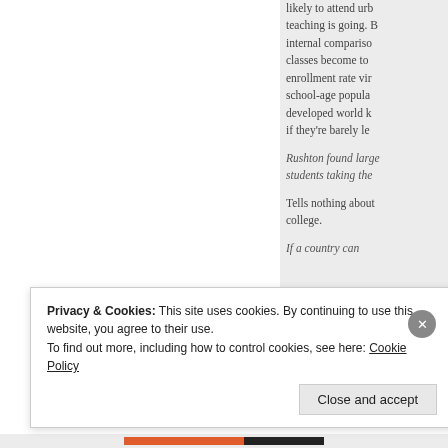likely to attend urb teaching is going. B internal compariso classes become to enrollment rate vir school-age popula developed world k if they're barely le
Rushton found large students taking the
Tells nothing about college.
If a country can
Privacy & Cookies: This site uses cookies. By continuing to use this website, you agree to their use.
To find out more, including how to control cookies, see here: Cookie Policy